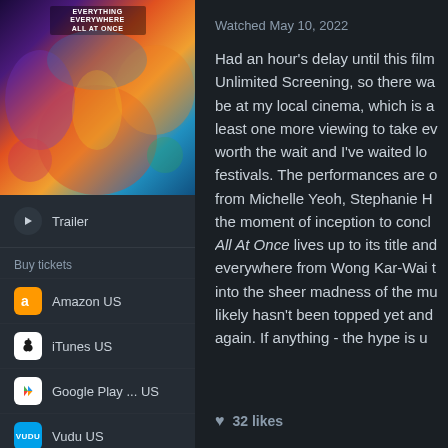[Figure (photo): Movie poster for 'Everything Everywhere All At Once' with colorful surrealist artwork]
Trailer
Buy tickets
Amazon US
iTunes US
Google Play ... US
Vudu US
Go PRO to customize
Watched May 10, 2022
Had an hour's delay until this film... Unlimited Screening, so there wa... be at my local cinema, which is a... least one more viewing to take ev... worth the wait and I've waited lo... festivals. The performances are o... from Michelle Yeoh, Stephanie H... the moment of inception to concl... All At Once lives up to its title and... everywhere from Wong Kar-Wai t... into the sheer madness of the mu... likely hasn't been topped yet and... again. If anything - the hype is u...
32 likes